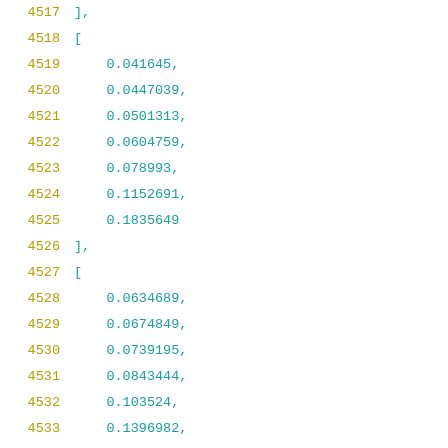4517    ],
4518    [
4519        0.041645,
4520        0.0447039,
4521        0.0501313,
4522        0.0604759,
4523        0.078993,
4524        0.1152691,
4525        0.1835649
4526    ],
4527    [
4528        0.0634689,
4529        0.0674849,
4530        0.0739195,
4531        0.0843444,
4532        0.103524,
4533        0.1396982,
4534        0.2080386
4535    ],
4536    [
4537        0.0967046,
4538        0.1032234,